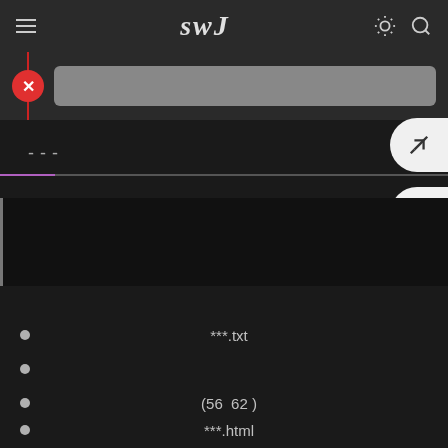SWJ
[Figure (screenshot): Search bar with red X close button and gray input field]
---
[Figure (screenshot): Expand/fullscreen button (white rounded pill) on right edge]
[Figure (screenshot): Scroll up button (white rounded pill with chevron) on right edge]
***.txt
(56  62 )
***.html